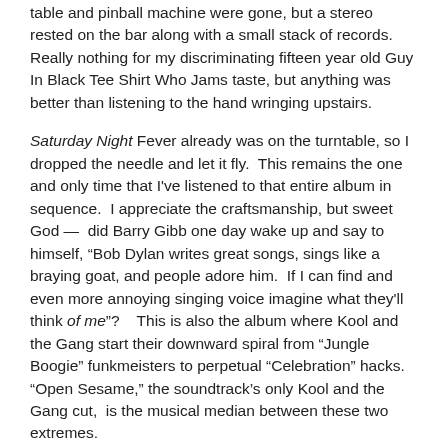table and pinball machine were gone, but a stereo rested on the bar along with a small stack of records. Really nothing for my discriminating fifteen year old Guy In Black Tee Shirt Who Jams taste, but anything was better than listening to the hand wringing upstairs.
Saturday Night Fever already was on the turntable, so I dropped the needle and let it fly. This remains the one and only time that I've listened to that entire album in sequence. I appreciate the craftsmanship, but sweet God — did Barry Gibb one day wake up and say to himself, "Bob Dylan writes great songs, sings like a braying goat, and people adore him. If I can find and even more annoying singing voice imagine what they'll think of me"? This is also the album where Kool and the Gang start their downward spiral from "Jungle Boogie" funkmeisters to perpetual "Celebration" hacks. "Open Sesame," the soundtrack's only Kool and the Gang cut, is the musical median between these two extremes.
But listen, if you were born between 1955 and 1969 those Saturday Night Fever songs are in your genes; of course, so are the traits for alcoholism and flipper babies. Approach any group